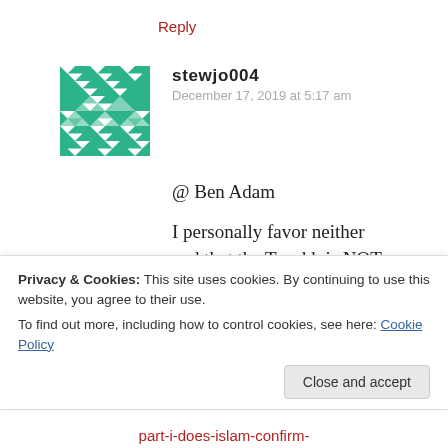Reply
[Figure (other): Green geometric/mosaic avatar image for user stewjo004]
stewjo004
December 17, 2019 at 5:17 am
@ Ben Adam
I personally favor neither and that the Tanakh is NOT the book given to Musa(as) here I wrote an article on it (with a graph) let me know
Privacy & Cookies: This site uses cookies. By continuing to use this website, you agree to their use.
To find out more, including how to control cookies, see here: Cookie Policy
Close and accept
part-i-does-islam-confirm-